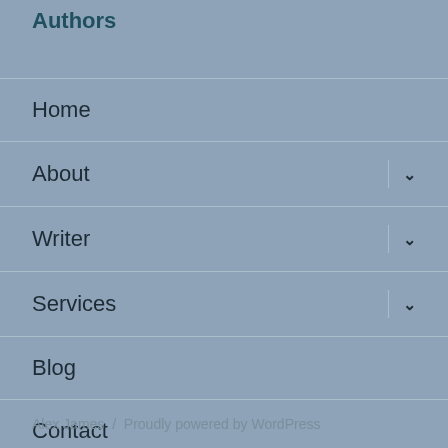Authors
Home
About
Writer
Services
Blog
Contact
Alex James / Proudly powered by WordPress